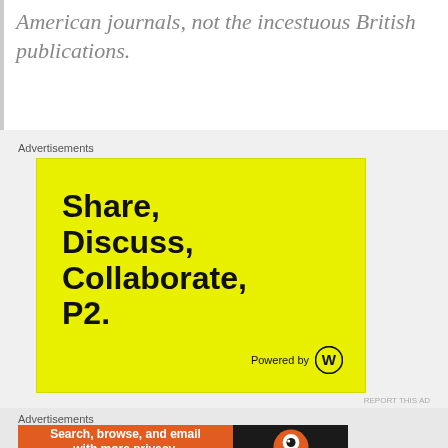American journals, not the incestuous British publications.
Advertisements
[Figure (illustration): Yellow advertisement banner reading 'Share, Discuss, Collaborate, P2.' with 'Powered by WordPress' at bottom right]
REPORT THIS AD
Advertisements
[Figure (illustration): DuckDuckGo advertisement: orange left panel reading 'Search, browse, and email with more privacy. All in One Free App' and dark right panel with DuckDuckGo logo and name]